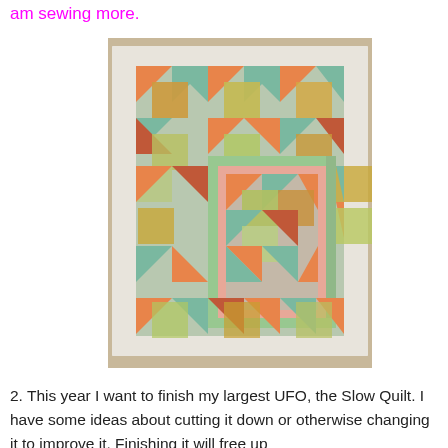am sewing more.
[Figure (photo): A colorful patchwork quilt with geometric triangle and square blocks in orange, green, teal, and floral black-and-white fabric, with a distinctive border pattern and a central lighter green frame.]
2. This year I want to finish my largest UFO, the Slow Quilt.  I have some ideas about cutting it down or otherwise changing it to improve it.  Finishing it will free up